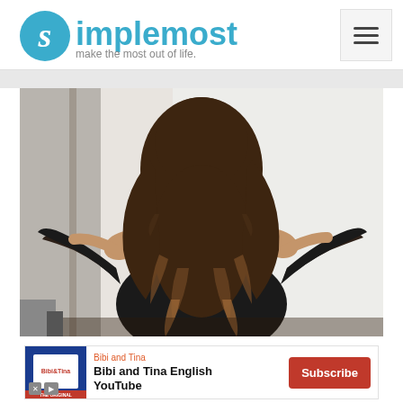simplemost — make the most out of life. [hamburger menu]
[Figure (photo): Woman seen from behind with long wavy brunette ombre hair, wearing a black long-sleeve top, hands raised behind her head, in a bright interior setting]
[Figure (infographic): Advertisement banner: Bibi and Tina English YouTube channel — Subscribe button in red]